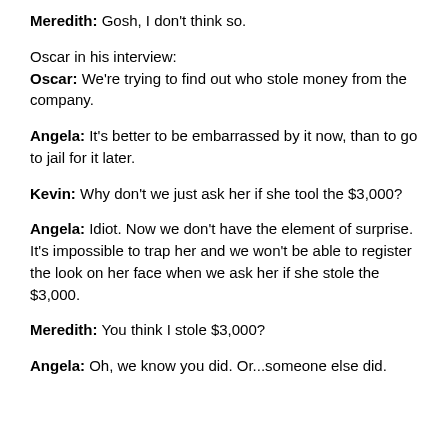Meredith: Gosh, I don't think so.
Oscar in his interview:
Oscar: We're trying to find out who stole money from the company.
Angela: It's better to be embarrassed by it now, than to go to jail for it later.
Kevin: Why don't we just ask her if she tool the $3,000?
Angela: Idiot. Now we don't have the element of surprise. It's impossible to trap her and we won't be able to register the look on her face when we ask her if she stole the $3,000.
Meredith: You think I stole $3,000?
Angela: Oh, we know you did. Or...someone else did.